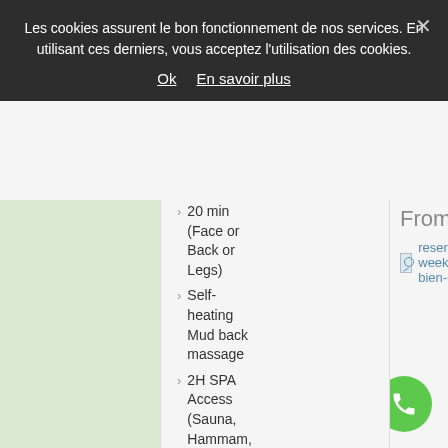Les cookies assurent le bon fonctionnement de nos services. En utilisant ces derniers, vous acceptez l'utilisation des cookies.
Ok   En savoir plus
From 249€ / 2 p.
[Figure (photo): Broken image placeholder for reservation weekend bien-et link]
20 min (Face or Back or Legs)
Self-heating Mud back massage
2H SPA Access (Sauna, Hammam, Jacuzzi, Relaxing Tea Room)
* : Rate for 2